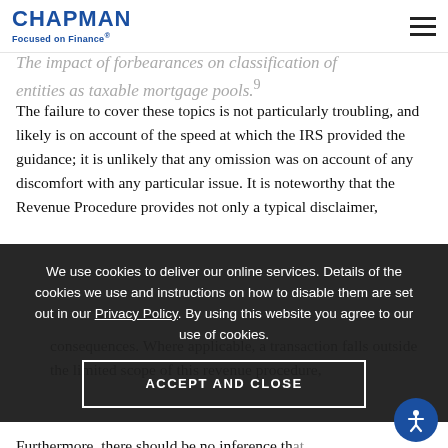CHAPMAN Focused on Finance®
The impact of forbearances on classification of entities as taxable mortgage pools.⁹
The failure to cover these topics is not particularly troubling, and likely is on account of the speed at which the IRS provided the guidance; it is unlikely that any omission was on account of any discomfort with any particular issue. It is noteworthy that the Revenue Procedure provides not only a typical disclaimer,
but also includes the much less typical consequences. Where applicable, a transaction falls outside the limited scope of this revenue procedure, but also includes the much less typical
Furthermore, there should be no inference that the absence of this revenue procedure, transactions
We use cookies to deliver our online services. Details of the cookies we use and instructions on how to disable them are set out in our Privacy Policy. By using this website you agree to our use of cookies.
ACCEPT AND CLOSE